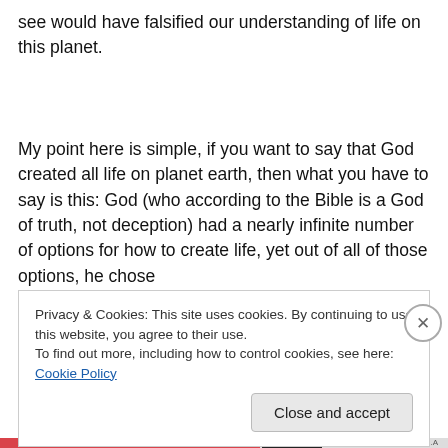see would have falsified our understanding of life on this planet.
My point here is simple, if you want to say that God created all life on planet earth, then what you have to say is this: God (who according to the Bible is a God of truth, not deception) had a nearly infinite number of options for how to create life, yet out of all of those options, he chose
Privacy & Cookies: This site uses cookies. By continuing to use this website, you agree to their use.
To find out more, including how to control cookies, see here: Cookie Policy
Close and accept